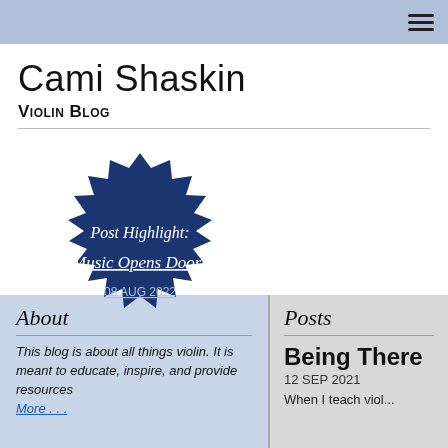Navigation bar with hamburger menu
Cami Shaskin
Violin Blog
[Figure (infographic): Dark navy blue starburst/seal badge with text 'Post Highlight:' and 'Music Opens Doors' (underlined link) and date '08 AUG 2022']
About
This blog is about all things violin. It is meant to educate, inspire, and provide resources More . . .
Posts
Being There
12 SEP 2021
When I teach viol...